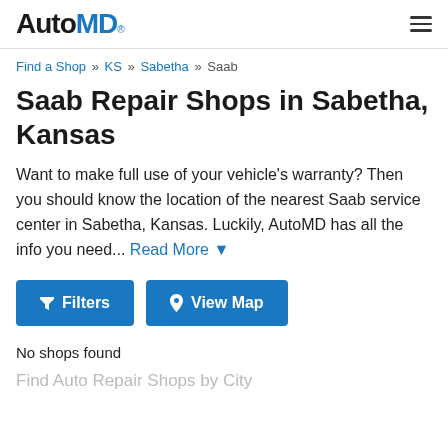AutoMD® [navigation menu icon]
Find a Shop » KS » Sabetha » Saab
Saab Repair Shops in Sabetha, Kansas
Want to make full use of your vehicle's warranty? Then you should know the location of the nearest Saab service center in Sabetha, Kansas. Luckily, AutoMD has all the info you need... Read More ▼
[Figure (other): Two blue buttons: a funnel-icon Filters button and a map-pin-icon View Map button]
No shops found
Find Auto Repair Shops by City